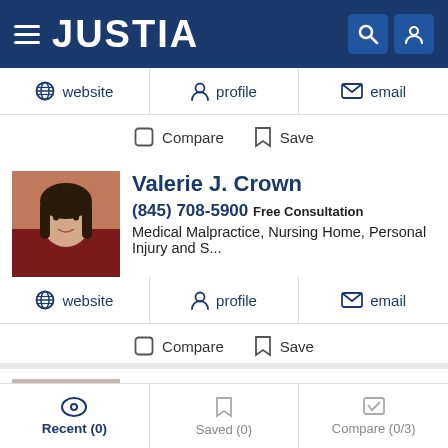JUSTIA
website  profile  email
Compare  Save
Valerie J. Crown
(845) 708-5900 Free Consultation
Medical Malpractice, Nursing Home, Personal Injury and S...
website  profile  email
Compare  Save
Brian Berkowitz
Recent (0)  Saved (0)  Compare (0/3)